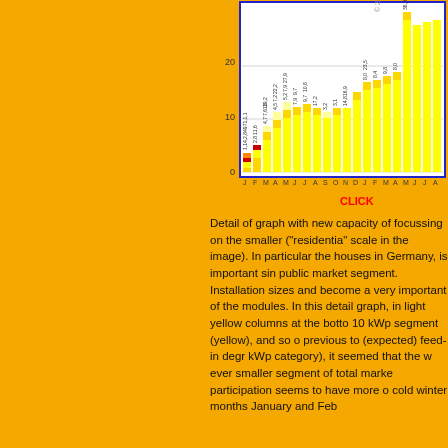[Figure (stacked-bar-chart): Stacked bar chart showing monthly new PV capacity with colored segments. X-axis shows months J F M A M J J A S O N D J F M A M J J A. Y-axis shows values 0-20. Bars contain stacked colored segments with numeric labels rotated vertically.]
CLICK
Detail of graph with new capacity of focussing on the smaller ("residential" scale in the image). In particular the houses in Germany, is important since public market segment. Installation sizes and become a very important of the modules. In this detail graph, in light yellow columns at the bottom 10 kWp segment (yellow), and so o previous to (expected) feed-in degre kWp category), it seemed that the w ever smaller segment of total marke participation seems to have more o cold winter months January and Feb